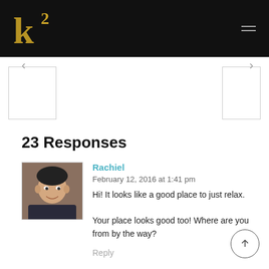K2 logo and navigation header
[Figure (illustration): Navigation arrows left and right with bordered boxes]
23 Responses
[Figure (photo): Avatar photo of commenter Rachiel, person in car]
Rachiel
February 12, 2016 at 1:41 pm
Hi! It looks like a good place to just relax.

Your place looks good too! Where are you from by the way?
Reply